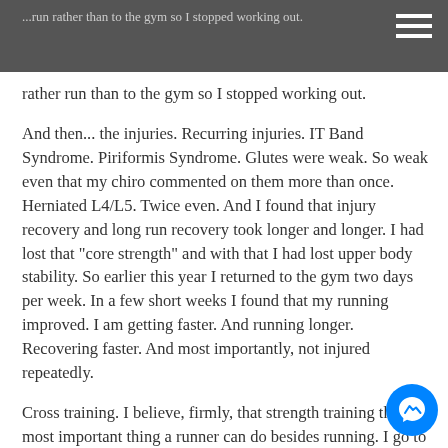...run rather than to the gym so I stopped working out.
And then... the injuries. Recurring injuries. IT Band Syndrome. Piriformis Syndrome. Glutes were weak. So weak even that my chiro commented on them more than once. Herniated L4/L5. Twice even. And I found that injury recovery and long run recovery took longer and longer. I had lost that "core strength" and with that I had lost upper body stability. So earlier this year I returned to the gym two days per week. In a few short weeks I found that my running improved. I am getting faster. And running longer. Recovering faster. And most importantly, not injured repeatedly.
Cross training. I believe, firmly, that strength training the most important thing a runner can do besides running. I go to the gym two days per week and work all